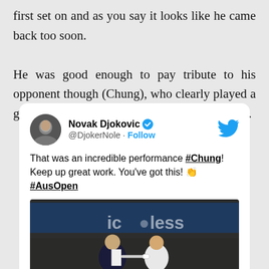first set on and as you say it looks like he came back too soon.

He was good enough to pay tribute to his opponent though (Chung), who clearly played a great match and sounds like a decent quiet guy.
[Figure (screenshot): Tweet from Novak Djokovic (@DjokerNole) with Follow button and Twitter bird icon. Tweet text: 'That was an incredible performance #Chung! Keep up great work. You've got this! 👏 #AusOpen'. Below the tweet text is a photo of two tennis players (Djokovic and Chung) shaking hands/fist bumping at a tennis court with 'icless' partial text visible in background.]